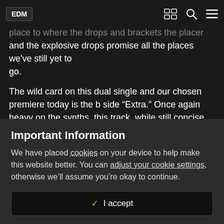EDM
want to? The haunting, strained melody is the perfect emotive place to where the drops and brackets the placer and the explosive drops promise all the places we've still yet to go.
The wild card on this dual single and our chosen premiere today is the b side “Extra.” Once again heavy on the synths, this track, while still concise and made for dancing, has a lot of complex sound design that the tech heads will love. Right away in the intro, the opening synths have a fun and none-too-easy-to-craft 80s throwback vaporwave sound to them. You can practically feel the 80s tween movie opening credits rolling. The drop is introduced by a sassy, singular female vox sample – perhaps even a Kardashian (perish the thought) – saying “why
Important Information
We have placed cookies on your device to help make this website better. You can adjust your cookie settings, otherwise we’ll assume you’re okay to continue.
✓  I accept